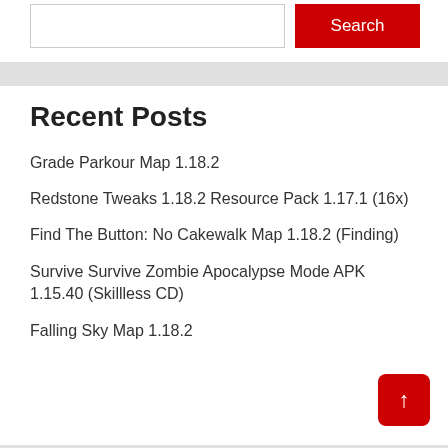[Figure (screenshot): Search input box (white rectangle with border) and red Search button]
Recent Posts
Grade Parkour Map 1.18.2
Redstone Tweaks 1.18.2 Resource Pack 1.17.1 (16x)
Find The Button: No Cakewalk Map 1.18.2 (Finding)
Survive Survive Zombie Apocalypse Mode APK 1.15.40 (Skillless CD)
Falling Sky Map 1.18.2